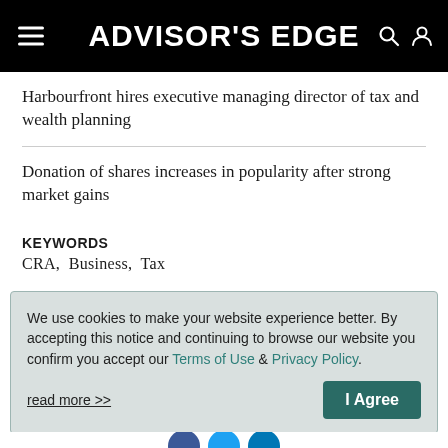ADVISOR'S EDGE
Harbourfront hires executive managing director of tax and wealth planning
Donation of shares increases in popularity after strong market gains
KEYWORDS
CRA,  Business,  Tax
We use cookies to make your website experience better. By accepting this notice and continuing to browse our website you confirm you accept our Terms of Use & Privacy Policy.
read more >>  I Agree